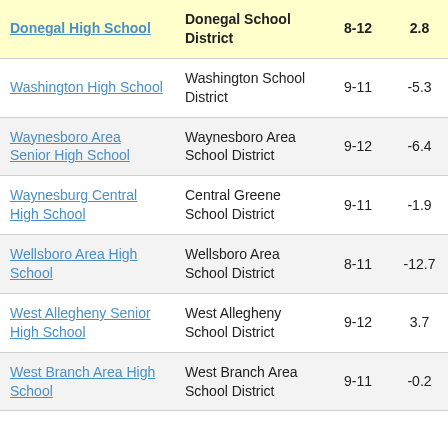| School | District | Grades | Value1 | Value2 |
| --- | --- | --- | --- | --- |
| Donegal High School | Donegal School District | 8-12 | 2.8 |  |
| Washington High School | Washington School District | 9-11 | -5.3 |  |
| Waynesboro Area Senior High School | Waynesboro Area School District | 9-12 | -6.4 |  |
| Waynesburg Central High School | Central Greene School District | 9-11 | -1.9 |  |
| Wellsboro Area High School | Wellsboro Area School District | 8-11 | -12.7 |  |
| West Allegheny Senior High School | West Allegheny School District | 9-12 | 3.7 |  |
| West Branch Area High School | West Branch Area School District | 9-11 | -0.2 |  |